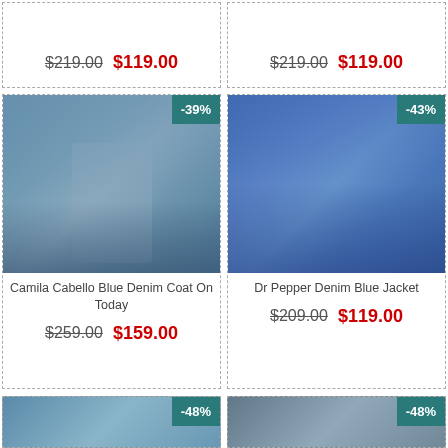$219.00  $119.00 (top-left card prices)
$219.00  $119.00 (top-right card prices)
[Figure (photo): Camila Cabello wearing blue denim coat/jacket, performing on stage with crowd behind]
-39%
Camila Cabello Blue Denim Coat On Today
$259.00  $159.00
[Figure (photo): Dr Pepper denim blue oversized jacket on a person outdoors]
-43%
Dr Pepper Denim Blue Jacket
$209.00  $119.00
[Figure (photo): Bottom-left product image partially visible, -48% badge]
-48%
[Figure (photo): Bottom-right product image partially visible, -48% badge]
-48%